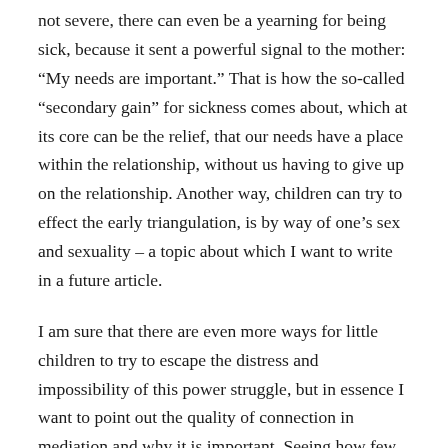not severe, there can even be a yearning for being sick, because it sent a powerful signal to the mother: “My needs are important.” That is how the so-called “secondary gain” for sickness comes about, which at its core can be the relief, that our needs have a place within the relationship, without us having to give up on the relationship. Another way, children can try to effect the early triangulation, is by way of one’s sex and sexuality – a topic about which I want to write in a future article.
I am sure that there are even more ways for little children to try to escape the distress and impossibility of this power struggle, but in essence I want to point out the quality of connection in mediation and why it is important. Seeing how few people will have experienced such an ideal